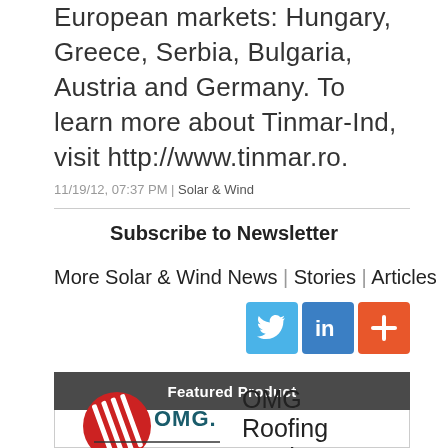European markets: Hungary, Greece, Serbia, Bulgaria, Austria and Germany. To learn more about Tinmar-Ind, visit http://www.tinmar.ro.
11/19/12, 07:37 PM | Solar & Wind
Subscribe to Newsletter
More Solar & Wind News | Stories | Articles
[Figure (logo): Social media icons: Twitter (blue bird), LinkedIn (in), and a red plus/share button]
Featured Product
[Figure (logo): OMG Roofing Products logo — red circle with white lines and OMG text in dark teal]
OMG Roofing Products